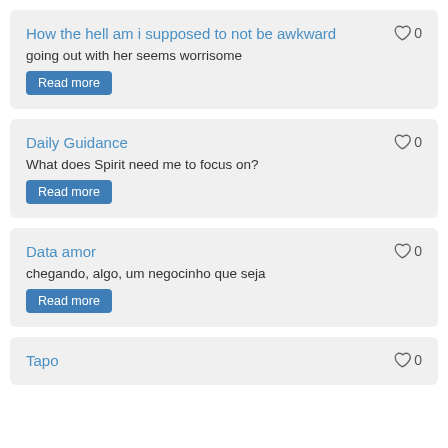How the hell am i supposed to not be awkward
going out with her seems worrisome
Read more
Daily Guidance
What does Spirit need me to focus on?
Read more
Data amor
chegando, algo, um negocinho que seja
Read more
Tapo